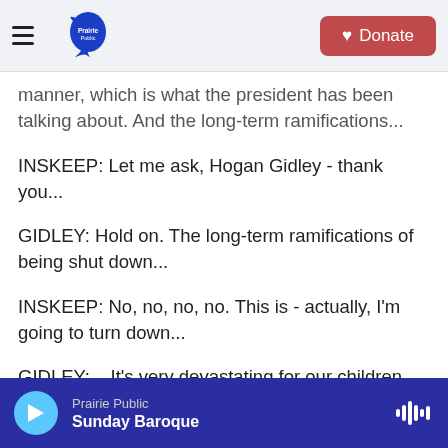Prairie Public | Donate
manner, which is what the president has been talking about. And the long-term ramifications...
INSKEEP: Let me ask, Hogan Gidley - thank you...
GIDLEY: Hold on. The long-term ramifications of being shut down...
INSKEEP: No, no, no, no. This is - actually, I'm going to turn down...
GIDLEY: ...It's very devastating for our children.
INSKEEP: ...Your microphone for a moment, and
Prairie Public | Sunday Baroque